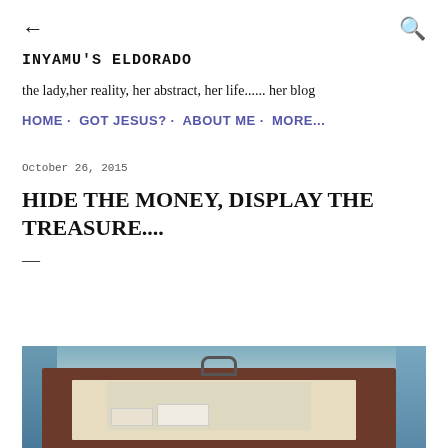← [back arrow]    [search icon]
INYAMU'S ELDORADO
the lady,her reality, her abstract, her life...... her blog
HOME · GOT JESUS? · ABOUT ME · MORE...
October 26, 2015
HIDE THE MONEY, DISPLAY THE TREASURE....
—
[Figure (photo): A photo of an open box or bag containing items, with blue jacket visible on the sides]